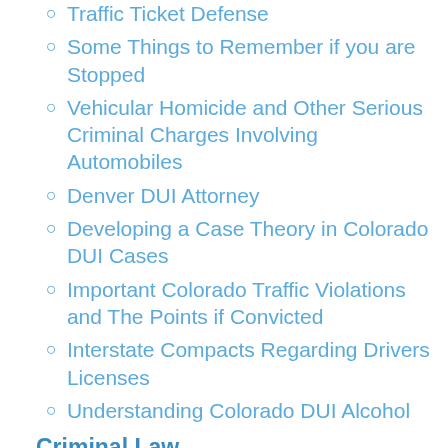Traffic Ticket Defense
Some Things to Remember if you are Stopped
Vehicular Homicide and Other Serious Criminal Charges Involving Automobiles
Denver DUI Attorney
Developing a Case Theory in Colorado DUI Cases
Important Colorado Traffic Violations and The Points if Convicted
Interstate Compacts Regarding Drivers Licenses
Understanding Colorado DUI Alcohol
Criminal Law
Arson
Colorado Criminal Arson Defense Lawyer